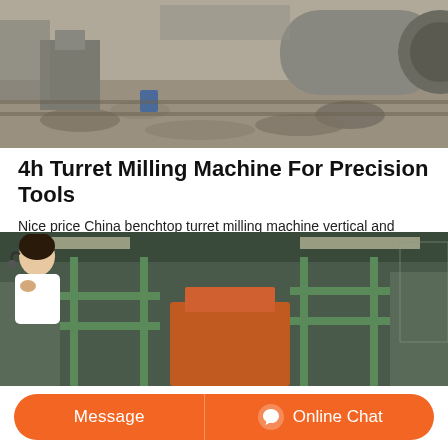[Figure (photo): Outdoor industrial site with heavy machinery, large cylindrical drum/ball mill equipment, rocky ground, and machinery in background]
4h Turret Milling Machine For Precision Tools
Nice price China benchtop turret milling machine vertical and horizontal 4HW 5HW for sale manufacturer. Up to 5 years warranty. $4,600.00-$5,090.00 / Set. 1.0 Sets (Min. Order) Zaozhuang Luxing Machine Tool Co., Ltd. CN 2 YRS. 1h response time. Contact Supplier. 1/5. Turret Milling Machine X6323A.
[Figure (photo): Indoor industrial warehouse/factory with green metal structures, orange equipment, machinery and overhead lighting]
Message   Online Chat